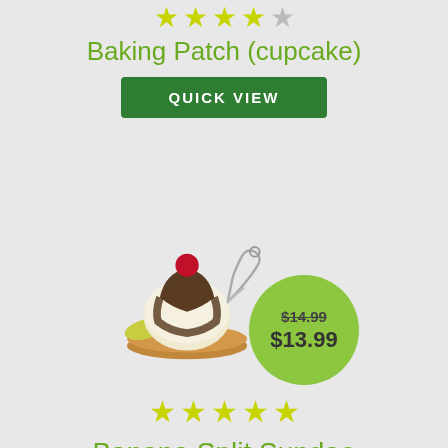[Figure (other): Star rating showing 4 out of 5 stars (yellow-green stars) for Baking Patch cupcake product]
Baking Patch (cupcake)
QUICK VIEW
[Figure (photo): Miniature banana split sundae charm/figurine with chocolate sauce and cherry on top, shown with a safety pin attachment. Overlapping green circular price badge showing original price $14.99 and sale price $13.99]
[Figure (other): Star rating showing 5 out of 5 stars (yellow-green stars) for Banana Split Sundae Friendship Swap Kit]
Banana Split Sundae Friendship Swap Kit
QUICK VIEW